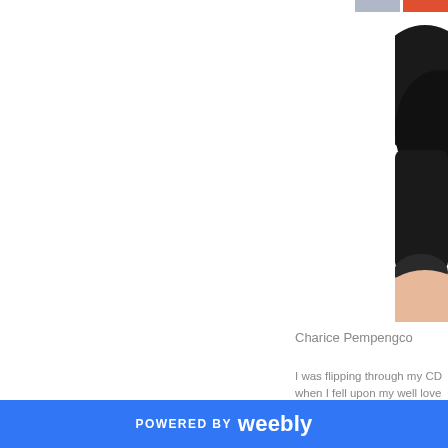[Figure (photo): Partial view of a person with dark hair, seen from behind/side, with a small thumbnail strip at the top right corner showing two small images]
Charice Pempengco
I was flipping through my CD when I fell upon my well love worn copy of Charice's debu
POWERED BY weebly